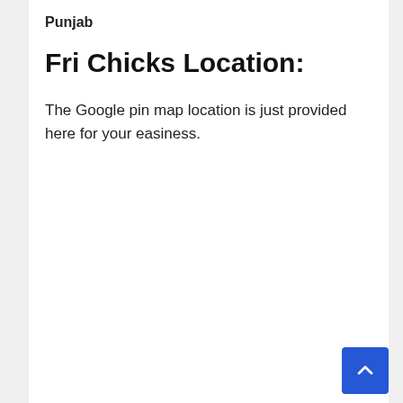Punjab
Fri Chicks Location:
The Google pin map location is just provided here for your easiness.